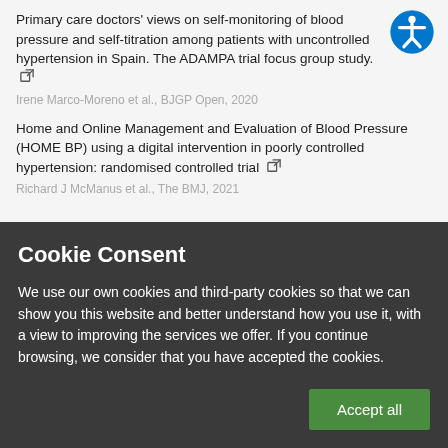Primary care doctors' views on self-monitoring of blood pressure and self-titration among patients with uncontrolled hypertension in Spain. The ADAMPA trial focus group study.
Irene Marco-Moreno et al., BJGP Open, 2020
Home and Online Management and Evaluation of Blood Pressure (HOME BP) using a digital intervention in poorly controlled hypertension: randomised controlled trial
Richard J McManus et al., The BMJ, 2021
Cookie Consent
We use our own cookies and third-party cookies so that we can show you this website and better understand how you use it, with a view to improving the services we offer. If you continue browsing, we consider that you have accepted the cookies.